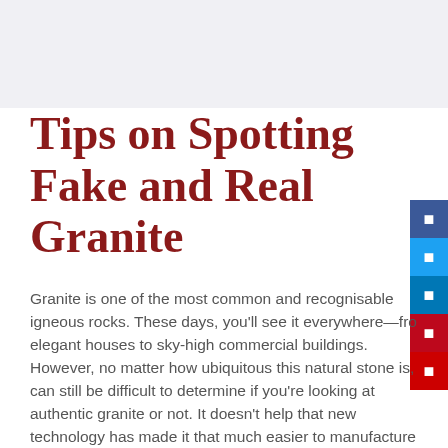Tips on Spotting Fake and Real Granite
Granite is one of the most common and recognisable igneous rocks. These days, you'll see it everywhere—from elegant houses to sky-high commercial buildings. However, no matter how ubiquitous this natural stone is, it can still be difficult to determine if you're looking at authentic granite or not. It doesn't help that new technology has made it that much easier to manufacture genuine-looking imitation stone.  If you want to know how to spot fake granite, here are our tips: 1. Tap the Surface and Listen to the Sound If you have a small hammer, lightly tap the back of the granite surface. You should hear a ringing sound if you're handling genuine granite stone. Otherwise, if you're tapping on an engineered … Continue reading →